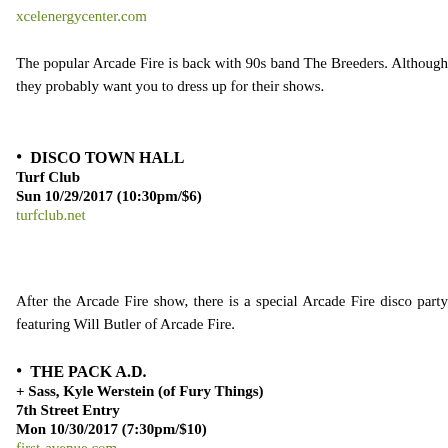xcelenergycenter.com
The popular Arcade Fire is back with 90s band The Breeders. Although they probably want you to dress up for their shows.
DISCO TOWN HALL
Turf Club
Sun 10/29/2017 (10:30pm/$6)
turfclub.net
After the Arcade Fire show, there is a special Arcade Fire disco party featuring Will Butler of Arcade Fire.
THE PACK A.D.
+ Sass, Kyle Werstein (of Fury Things)
7th Street Entry
Mon 10/30/2017 (7:30pm/$10)
first-avenue.com